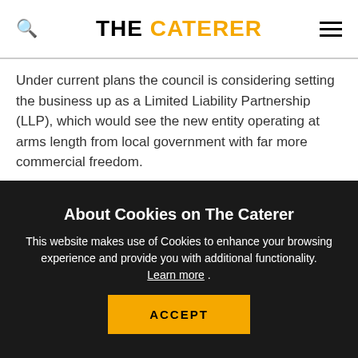THE CATERER
Under current plans the council is considering setting the business up as a Limited Liability Partnership (LLP), which would see the new entity operating at arms length from local government with far more commercial freedom.
At present council caterers are restricted in the amount of business outside their local authority remit they can
About Cookies on The Caterer
This website makes use of Cookies to enhance your browsing experience and provide you with additional functionality. Learn more .
ACCEPT